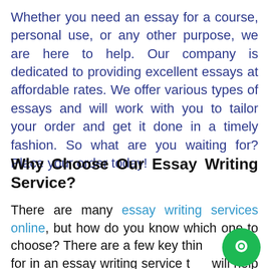Whether you need an essay for a course, personal use, or any other purpose, we are here to help. Our company is dedicated to providing excellent essays at affordable rates. We offer various types of essays and will work with you to tailor your order and get it done in a timely fashion. So what are you waiting for? Place your order today!
Why Choose Our Essay Writing Service?
There are many essay writing services online, but how do you know which one to choose? There are a few key things to look for in an essay writing service that will help you to be sure that you're